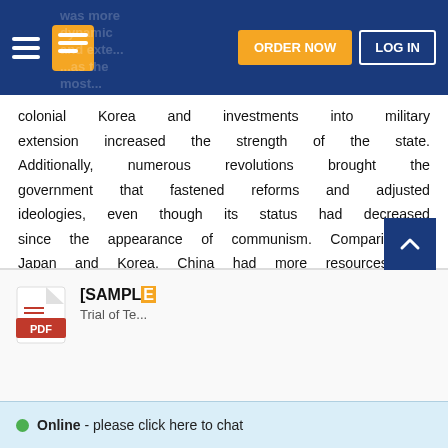ORDER NOW | LOG IN
was more dynamic and extensive, Japan as the most ... among the three countries. Chinese oppression of colonial Korea and investments into military extension increased the strength of the state. Additionally, numerous revolutions brought the government that fastened reforms and adjusted ideologies, even though its status had decreased since the appearance of communism. Comparing to Japan and Korea, China had more resources and cultural impact on the Asian region and the change of its social outlook from nationalism towards communism was more influential than in Japan and Korea.
[SAMPLE] Trial of Te...